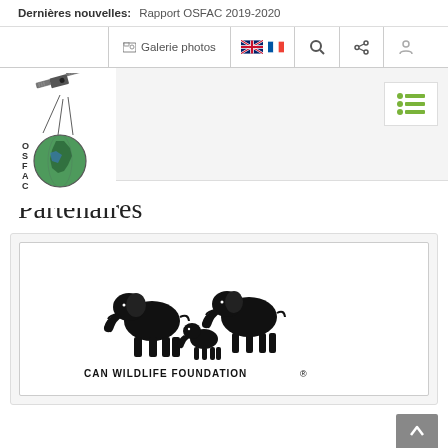Dernières nouvelles: Rapport OSFAC 2019-2020
[Figure (logo): Navigation bar with Galerie photos link, UK and French flags, search icon, share icon, and user icon]
[Figure (logo): OSFAC logo with satellite and globe illustration showing Central Africa]
[Figure (screenshot): Green list/menu icon button]
Partenaires
[Figure (logo): African Wildlife Foundation logo showing elephant silhouettes (two large, one medium, one small) with text AFRICAN WILDLIFE FOUNDATION®]